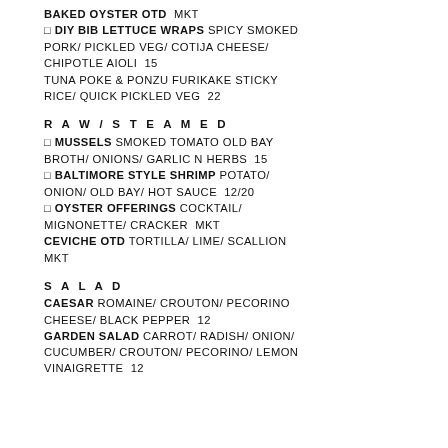BAKED OYSTER OTD  MKT
◻ DIY BIB LETTUCE WRAPS SPICY SMOKED PORK/ PICKLED VEG/ COTIJA CHEESE/ CHIPOTLE AIOLI  15
TUNA POKE & PONZU FURIKAKE STICKY RICE/ QUICK PICKLED VEG  22
R A W / S T E A M E D
◻ MUSSELS SMOKED TOMATO OLD BAY BROTH/ ONIONS/ GARLIC N HERBS  15
◻ BALTIMORE STYLE SHRIMP POTATO/ ONION/ OLD BAY/ HOT SAUCE  12/20
◻ OYSTER OFFERINGS COCKTAIL/ MIGNONETTE/ CRACKER  MKT
CEVICHE OTD TORTILLA/ LIME/ SCALLION MKT
S A L A D
CAESAR ROMAINE/ CROUTON/ PECORINO CHEESE/ BLACK PEPPER  12
GARDEN SALAD CARROT/ RADISH/ ONION/ CUCUMBER/ CROUTON/ PECORINO/ LEMON VINAIGRETTE  12